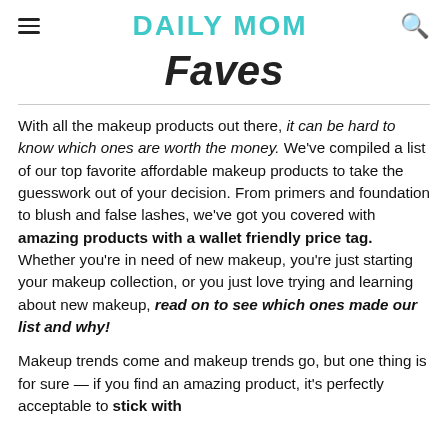DAILY MOM
Faves
With all the makeup products out there, it can be hard to know which ones are worth the money. We've compiled a list of our top favorite affordable makeup products to take the guesswork out of your decision. From primers and foundation to blush and false lashes, we've got you covered with amazing products with a wallet friendly price tag. Whether you're in need of new makeup, you're just starting your makeup collection, or you just love trying and learning about new makeup, read on to see which ones made our list and why!
Makeup trends come and makeup trends go, but one thing is for sure — if you find an amazing product, it's perfectly acceptable to stick with